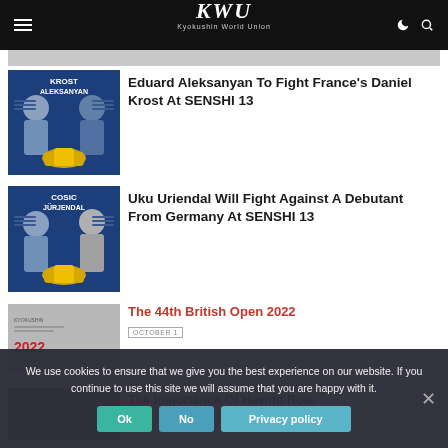KWU Kyokushin World Union
[Figure (photo): Fighter matchup card for Krost vs Aleksanyan with championship belt]
Eduard Aleksanyan To Fight France's Daniel Krost At SENSHI 13
[Figure (photo): Fighter matchup card for Cosic vs Jürjendal with championship belt]
Uku Uriendal Will Fight Against A Debutant From Germany At SENSHI 13
[Figure (photo): Partial fighter card visible at bottom]
The 44th British Open 2022
OCTOBER 1
[Figure (photo): Partial image at very bottom]
The Importance Of Having Role
We use cookies to ensure that we give you the best experience on our website. If you continue to use this site we will assume that you are happy with it.